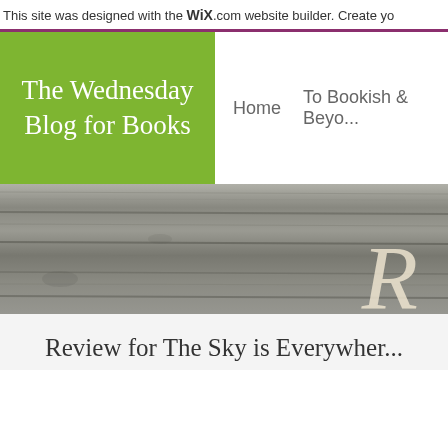This site was designed with the WiX.com website builder. Create yo
The Wednesday Blog for Books
Home    To Bookish & Beyo...
[Figure (photo): Weathered grey wood plank texture background with a large italic letter partially visible on the right side]
Review for The Sky is Everywher